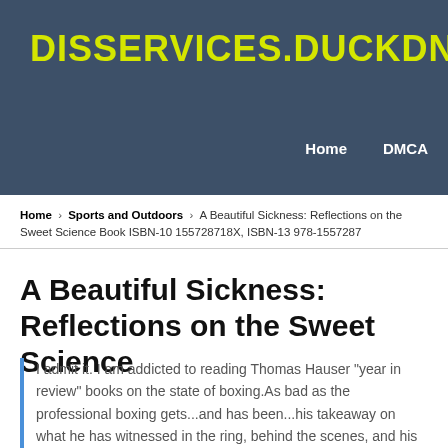DISSERVICES.DUCKDNS.ORG
Home    DMCA
Home › Sports and Outdoors › A Beautiful Sickness: Reflections on the Sweet Science Book ISBN-10 155728718X, ISBN-13 978-1557287
A Beautiful Sickness: Reflections on the Sweet Science
I admit it. I am addicted to reading Thomas Hauser "year in review" books on the state of boxing.As bad as the professional boxing gets...and has been...his takeaway on what he has witnessed in the ring, behind the scenes, and his knowledge of the h...